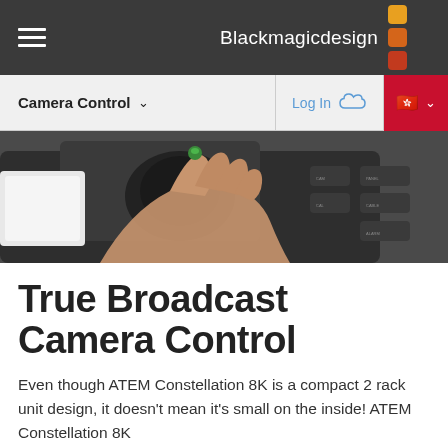Blackmagicdesign
[Figure (screenshot): Navigation bar with Camera Control menu, Log In button with cloud icon, Hong Kong flag region selector]
[Figure (photo): Close-up of a hand operating a broadcast camera control device with buttons and joystick, on dark background]
True Broadcast Camera Control
Even though ATEM Constellation 8K is a compact 2 rack unit design, it doesn't mean it's small on the inside! ATEM Constellation 8K